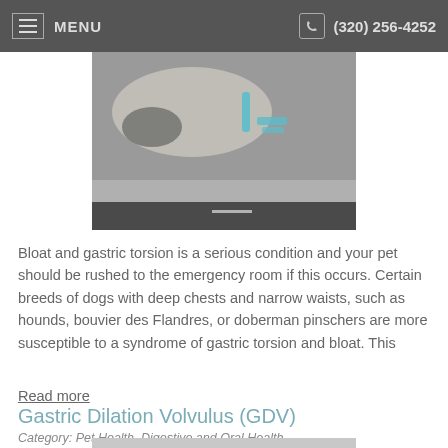MENU   (320) 256-4252
[Figure (photo): Dog lying on a veterinary examination table with medical equipment and syringes nearby]
Bloat and gastric torsion is a serious condition and your pet should be rushed to the emergency room if this occurs. Certain breeds of dogs with deep chests and narrow waists, such as hounds, bouvier des Flandres, or doberman pinschers are more susceptible to a syndrome of gastric torsion and bloat. This
Read more
Gastric Dilation Volvulus (GDV)
Category: Pet Health, Digestive and Oral Health